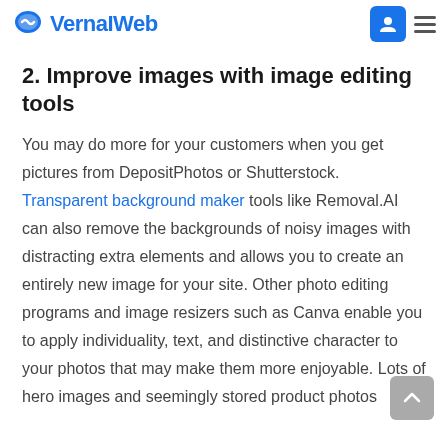VernaIWeb
2. Improve images with image editing tools
You may do more for your customers when you get pictures from DepositPhotos or Shutterstock. Transparent background maker tools like Removal.AI can also remove the backgrounds of noisy images with distracting extra elements and allows you to create an entirely new image for your site. Other photo editing programs and image resizers such as Canva enable you to apply individuality, text, and distinctive character to your photos that may make them more enjoyable. Lots of hero images and seemingly stored product photos